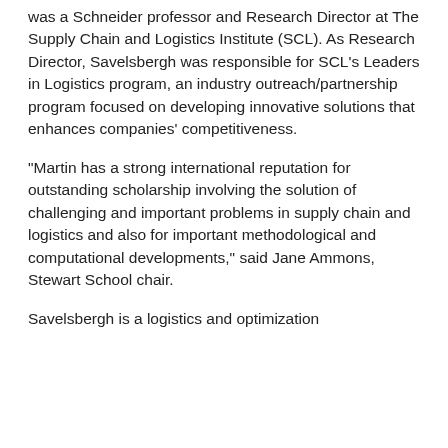was a Schneider professor and Research Director at The Supply Chain and Logistics Institute (SCL). As Research Director, Savelsbergh was responsible for SCL's Leaders in Logistics program, an industry outreach/partnership program focused on developing innovative solutions that enhances companies' competitiveness.
“Martin has a strong international reputation for outstanding scholarship involving the solution of challenging and important problems in supply chain and logistics and also for important methodological and computational developments,” said Jane Ammons, Stewart School chair.
Savelsbergh is a logistics and optimization